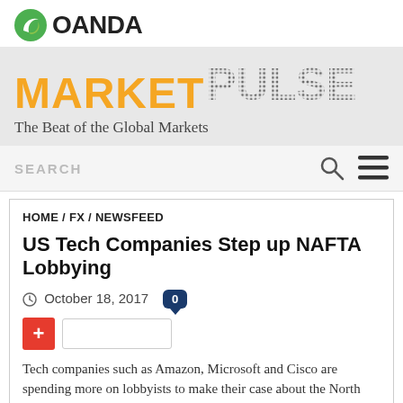[Figure (logo): OANDA logo with green leaf icon and black OANDA text]
[Figure (logo): MarketPulse banner - MARKET in orange bold text, PULSE in grey dotted matrix text, tagline: The Beat of the Global Markets]
SEARCH
HOME / FX / NEWSFEED
US Tech Companies Step up NAFTA Lobbying
October 18, 2017
Tech companies such as Amazon, Microsoft and Cisco are spending more on lobbyists to make their case about the North